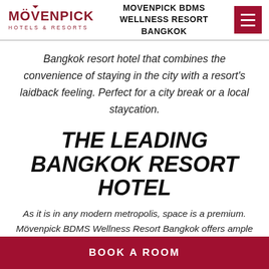MOVENPICK BDMS WELLNESS RESORT BANGKOK
Bangkok resort hotel that combines the convenience of staying in the city with a resort's laidback feeling. Perfect for a city break or a local staycation.
THE LEADING BANGKOK RESORT HOTEL
As it is in any modern metropolis, space is a premium. Mövenpick BDMS Wellness Resort Bangkok offers ample space to immediately transport guests into holiday mode. Guest rooms start at 42 square metres and range up to 164 square metres in size. All rooms & suites offer private
BOOK A ROOM